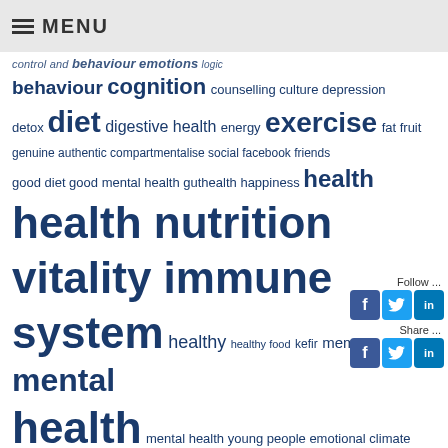MENU
[Figure (other): Tag cloud with health and nutrition related keywords in varying font sizes representing frequency/importance. Words include: behaviour cognition counselling culture depression detox diet digestive health energy exercise fat fruit genuine authentic compartmentalise social facebook friends good diet good mental health guthealth happiness health health nutrition vitality immune system healthy healthy food kefir memory mental health mental health young people emotional climate change neuroscience nutrients Nutrition obesity obesity; health; nutrition; diabetes; fat; morbidly obese; metabolic; good health]
[Figure (other): Social media widget with Follow... label and Facebook, Twitter, LinkedIn icons, then Share... label with same icons below]